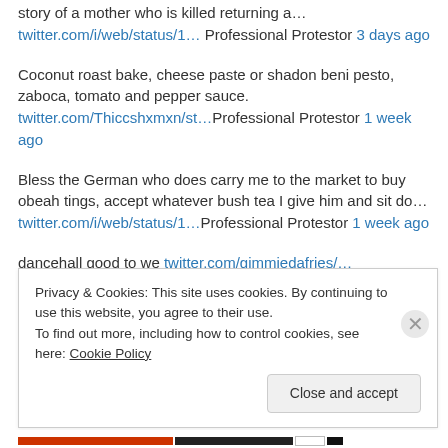story of a mother who is killed returning a… twitter.com/i/web/status/1… Professional Protestor 3 days ago
Coconut roast bake, cheese paste or shadon beni pesto, zaboca, tomato and pepper sauce. twitter.com/Thiccshxmxn/st…Professional Protestor 1 week ago
Bless the German who does carry me to the market to buy obeah tings, accept whatever bush tea I give him and sit do… twitter.com/i/web/status/1…Professional Protestor 1 week ago
dancehall good to we twitter.com/gimmiedafries/…Professional Protestor 1 week ago
Privacy & Cookies: This site uses cookies. By continuing to use this website, you agree to their use. To find out more, including how to control cookies, see here: Cookie Policy Close and accept